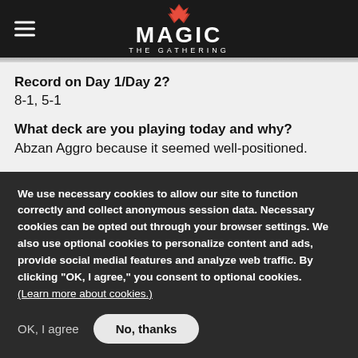MAGIC THE GATHERING
Record on Day 1/Day 2?
8-1, 5-1
What deck are you playing today and why?
Abzan Aggro because it seemed well-positioned.
What was your MVP this weekend? Maindeck? Sideboard?
We use necessary cookies to allow our site to function correctly and collect anonymous session data. Necessary cookies can be opted out through your browser settings. We also use optional cookies to personalize content and ads, provide social medial features and analyze web traffic. By clicking “OK, I agree,” you consent to optional cookies. (Learn more about cookies.)